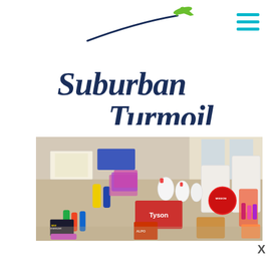[Figure (logo): Suburban Turmoil blog logo with cursive dark navy text, an airplane icon in green with a blue swoosh trail, on white background]
[Figure (photo): Large haul of groceries and household products spread across a kitchen table and floor, including milk jugs, Tyson chicken, Energizer batteries, various condiment bottles, packaged meats, paper products, and other items. Bright indoor setting with white chairs and window in background.]